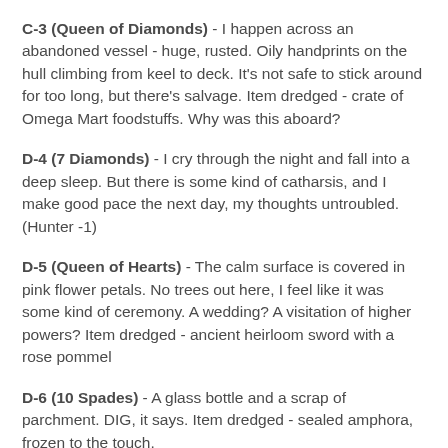C-3 (Queen of Diamonds) - I happen across an abandoned vessel - huge, rusted. Oily handprints on the hull climbing from keel to deck. It's not safe to stick around for too long, but there's salvage. Item dredged - crate of Omega Mart foodstuffs. Why was this aboard?
D-4 (7 Diamonds) - I cry through the night and fall into a deep sleep. But there is some kind of catharsis, and I make good pace the next day, my thoughts untroubled. (Hunter -1)
D-5 (Queen of Hearts) - The calm surface is covered in pink flower petals. No trees out here, I feel like it was some kind of ceremony. A wedding? A visitation of higher powers? Item dredged - ancient heirloom sword with a rose pommel
D-6 (10 Spades) - A glass bottle and a scrap of parchment. DIG, it says. Item dredged - sealed amphora, frozen to the touch.
C-6 (5 Spades) - A cricket? Some chirping through the entire night, though I search the ship top to bottom for the source.